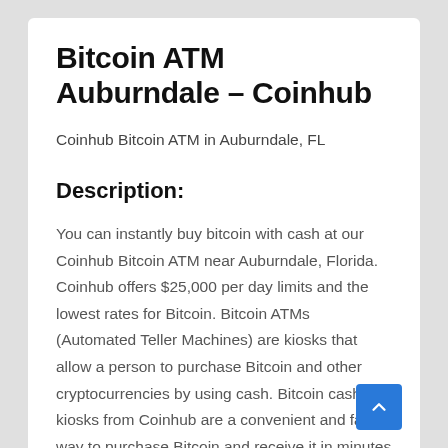Bitcoin ATM Auburndale – Coinhub
Coinhub Bitcoin ATM in Auburndale, FL
Description:
You can instantly buy bitcoin with cash at our Coinhub Bitcoin ATM near Auburndale, Florida. Coinhub offers $25,000 per day limits and the lowest rates for Bitcoin. Bitcoin ATMs (Automated Teller Machines) are kiosks that allow a person to purchase Bitcoin and other cryptocurrencies by using cash. Bitcoin cash kiosks from Coinhub are a convenient and fast way to purchase Bitcoin and receive it in minutes directly into your wallet. Coinhub Bitcoin machines are easy to use